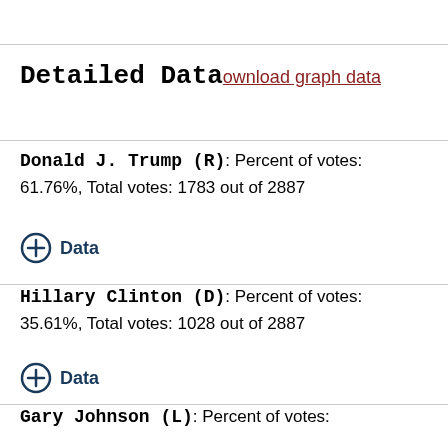Detailed Data download graph data
Donald J. Trump (R): Percent of votes: 61.76%, Total votes: 1783 out of 2887
+ Data
Hillary Clinton (D): Percent of votes: 35.61%, Total votes: 1028 out of 2887
+ Data
Gary Johnson (L): Percent of votes: